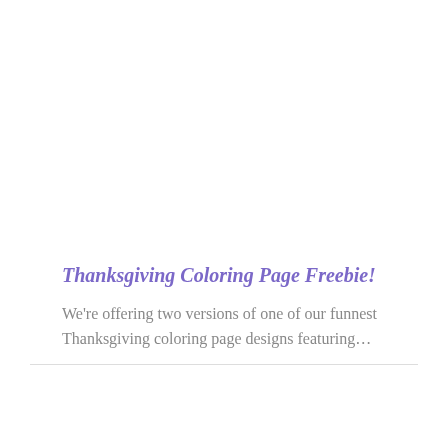Thanksgiving Coloring Page Freebie!
We're offering two versions of one of our funnest Thanksgiving coloring page designs featuring...